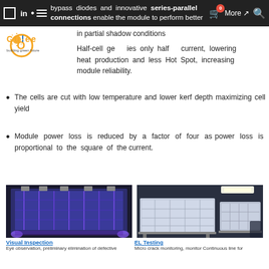Navigation bar with logo, menu, LinkedIn, Facebook icons, cart, More link, and search
bypass diodes and innovative series-parallel connections enable the module to perform better in partial shadow conditions
Half-cell generates only half the current, lowering heat production and less Hot Spot, increasing module reliability.
The cells are cut with low temperature and lower kerf depth maximizing cell yield
Module power loss is reduced by a factor of four as power loss is proportional to the square of the current.
[Figure (photo): Two side-by-side photos of solar panels under test: left shows a solar panel under UV/EL imaging with purple light, right shows a solar panel on a testing rack under indoor lighting]
Visual Inspection
EL Testing
Eye observation, preliminary elimination of defective
Micro crack monitoring, monitor Continuous line for